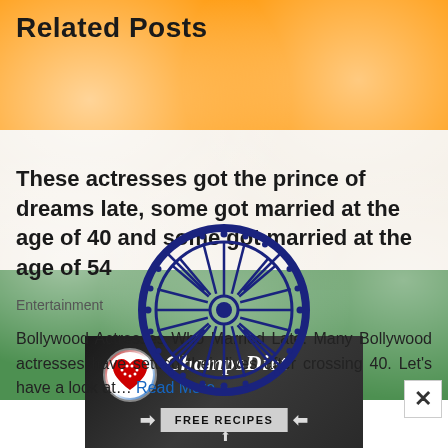Related Posts
[Figure (illustration): Indian flag background with saffron, white, and green stripes in paint-splatter style, with Ashoka Chakra (navy blue wheel with 24 spokes) overlaid in center]
These actresses got the prince of dreams late, some got married at the age of 40 and some got married at the age of 54
Entertainment
Bollywood Actresses Who Married Late: Many Bollywood actresses have settled their lives after crossing 40. Let's have a look at… Read More »
[Figure (photo): ChampsDiet advertisement banner showing a dark food-themed background with the ChampsDiet logo (circular American flag heart), script text 'ChampsDiet', and a 'FREE RECIPES' call-to-action button with arrows, surrounded by food items including tomatoes, rosemary, and pasta]